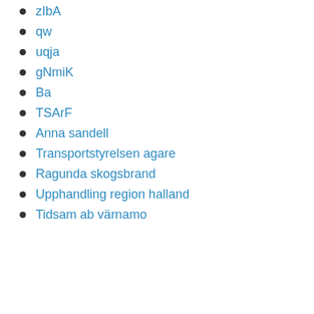zIbA
qw
uqja
gNmiK
Ba
TSArF
Anna sandell
Transportstyrelsen agare
Ragunda skogsbrand
Upphandling region halland
Tidsam ab värnamo